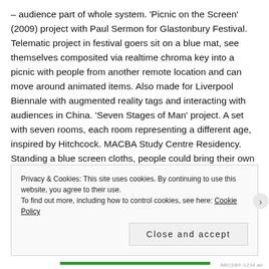– audience part of whole system. 'Picnic on the Screen' (2009) project with Paul Sermon for Glastonbury Festival. Telematic project in festival goers sit on a blue mat, see themselves composited via realtime chroma key into a picnic with people from another remote location and can move around animated items. Also made for Liverpool Biennale with augmented reality tags and interacting with audiences in China. 'Seven Stages of Man' project. A set with seven rooms, each room representing a different age, inspired by Hitchcock. MACBA Study Centre Residency. Standing a blue screen cloths, people could bring their own props, experiment and play with the environments they were in and could create their own mini dramas. 2011 audiences between Manchester and
Privacy & Cookies: This site uses cookies. By continuing to use this website, you agree to their use.
To find out more, including how to control cookies, see here: Cookie Policy
Close and accept